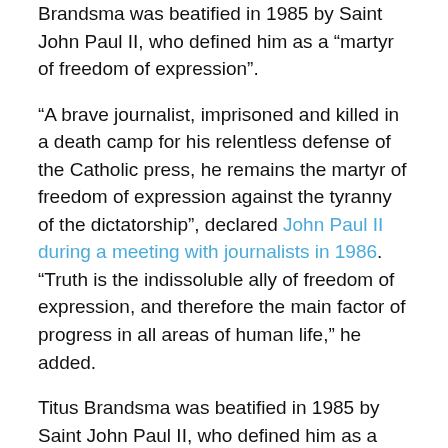Brandsma was beatified in 1985 by Saint John Paul II, who defined him as a “martyr of freedom of expression”.
“A brave journalist, imprisoned and killed in a death camp for his relentless defense of the Catholic press, he remains the martyr of freedom of expression against the tyranny of the dictatorship”, declared John Paul II during a meeting with journalists in 1986. “Truth is the indissoluble ally of freedom of expression, and therefore the main factor of progress in all areas of human life,” he added.
Titus Brandsma was beatified in 1985 by Saint John Paul II, who defined him as a “martyr of freedom of expression”.
Titus Brandsma lived between 1881 and 1942, when he was killed by lethal injection at Dachau concentration camp in Germany, the first camp established by the Nazi regime. Born into a humble and devout Catholic family in a rural